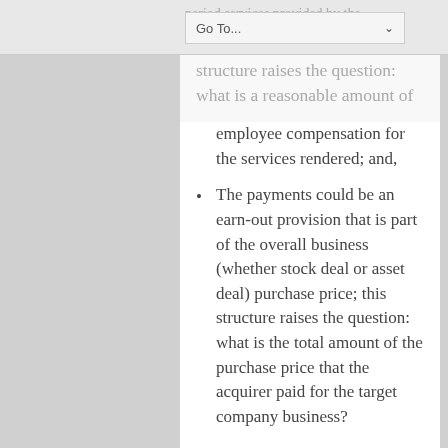Go To...
period services provided by the former shareholders; this structure raises the question: what is a reasonable amount of employee compensation for the services rendered; and,
The payments could be an earn-out provision that is part of the overall business (whether stock deal or asset deal) purchase price; this structure raises the question: what is the total amount of the purchase price that the acquirer paid for the target company business?
In addition to tax and legal counsel, a valuation analyst is often involved in answering these two transaction structure questions.
Buyer vs. Seller Considerations in